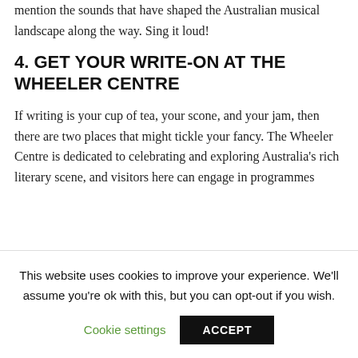mention the sounds that have shaped the Australian musical landscape along the way. Sing it loud!
4. GET YOUR WRITE-ON AT THE WHEELER CENTRE
If writing is your cup of tea, your scone, and your jam, then there are two places that might tickle your fancy. The Wheeler Centre is dedicated to celebrating and exploring Australia's rich literary scene, and visitors here can engage in programmes
This website uses cookies to improve your experience. We'll assume you're ok with this, but you can opt-out if you wish.
Cookie settings
ACCEPT